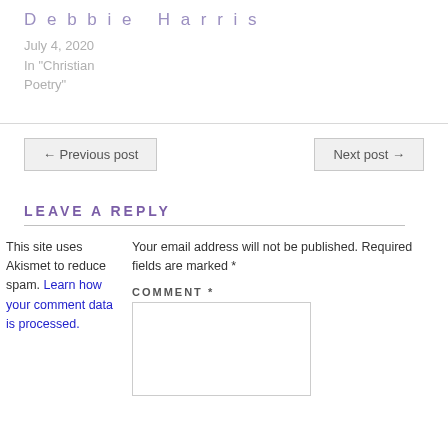Debbie Harris
July 4, 2020
In "Christian Poetry"
← Previous post
Next post →
LEAVE A REPLY
This site uses Akismet to reduce spam. Learn how your comment data is processed.
Your email address will not be published. Required fields are marked *
COMMENT *